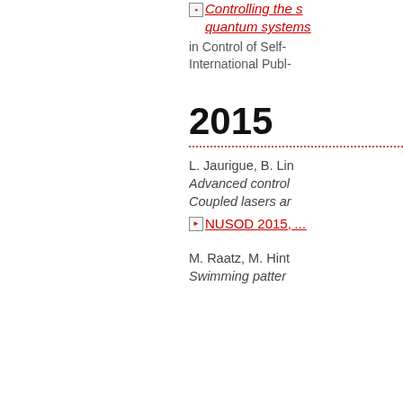Controlling the ... quantum systems... in Control of Self-... International Publ-...
2015
L. Jaurigue, B. Lin... Advanced control... Coupled lasers ar...
NUSOD 2015, ...
M. Raatz, M. Hint... Swimming patter...